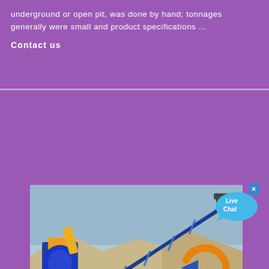underground or open pit, was done by hand; tonnages generally were small and product specifications ...
Contact us
[Figure (photo): Mining crusher equipment with conveyor belt at an open pit site, branded with AMC logo]
CRUSHER IN ARGENTINA
2021-7-17 · Crusher Gyratory Cadmium In Argentina. different ...